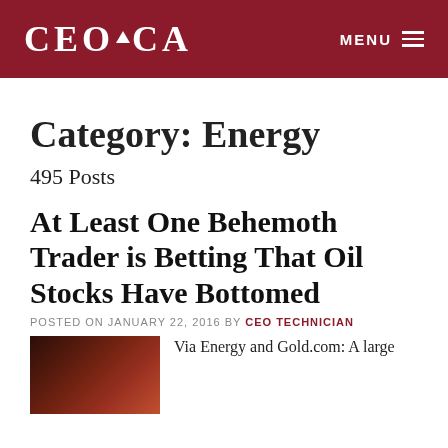CEO.CA MENU
Category: Energy
495 Posts
At Least One Behemoth Trader is Betting That Oil Stocks Have Bottomed
POSTED ON JANUARY 22, 2016 BY CEO TECHNICIAN
[Figure (photo): Dark reddish-toned thumbnail image for article]
Via Energy and Gold.com: A large